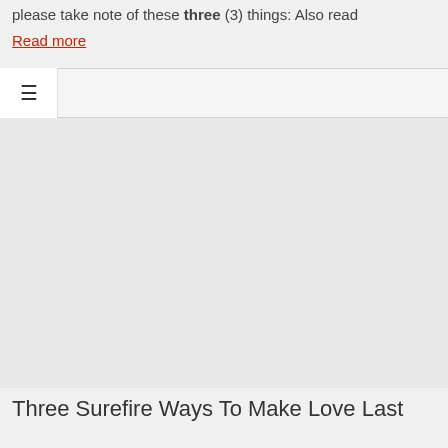please take note of these three (3) things: Also read
Read more
[Figure (other): Navigation bar with hamburger menu icon on the left side]
[Figure (photo): Large image area with light gray textured background]
Three Surefire Ways To Make Love Last